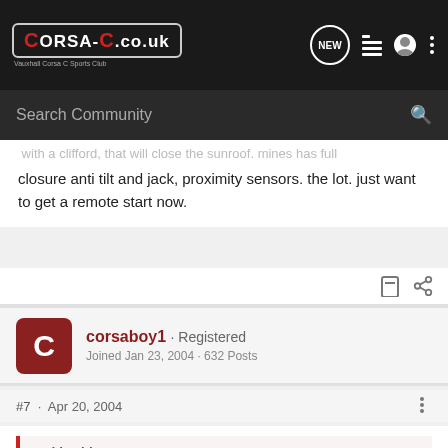CORSA-C.co.uk - Vauxhall Corsa C Sports Club - Search Community
closure anti tilt and jack, proximity sensors. the lot. just want to get a remote start now.
corsaboy1 · Registered
Joined Jan 23, 2004 · 632 Posts
#7 · Apr 20, 2004
padd said:
something i thought about earlier, is there a way to get my windows to automacticly close when i lock the doors with my keyfob? im